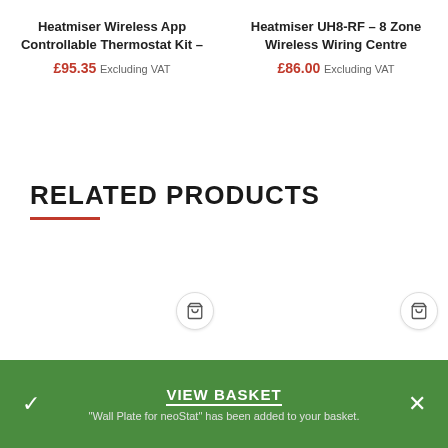Heatmiser Wireless App Controllable Thermostat Kit – £95.35 Excluding VAT
Heatmiser UH8-RF – 8 Zone Wireless Wiring Centre £86.00 Excluding VAT
RELATED PRODUCTS
[Figure (other): Shopping cart button icon for related product 1]
[Figure (other): Shopping cart button icon for related product 2]
VIEW BASKET
"Wall Plate for neoStat" has been added to your basket.